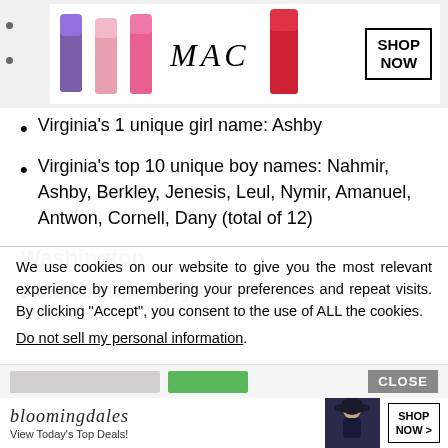[Figure (illustration): MAC cosmetics advertisement banner with colorful lipsticks, MAC italic logo, and SHOP NOW button]
Virginia's 1 unique girl name: Ashby
Virginia's top 10 unique boy names: Nahmir, Ashby, Berkley, Jenesis, Leul, Nymir, Amanuel, Antwon, Cornell, Dany (total of 12)
Washington
Washington's top girl name: Olivia
We use cookies on our website to give you the most relevant experience by remembering your preferences and repeat visits. By clicking “Accept”, you consent to the use of ALL the cookies.
Do not sell my personal information.
[Figure (illustration): Bloomingdale's advertisement banner with italic logo, 'View Today's Top Deals!' text, fashion model, and SHOP NOW button]